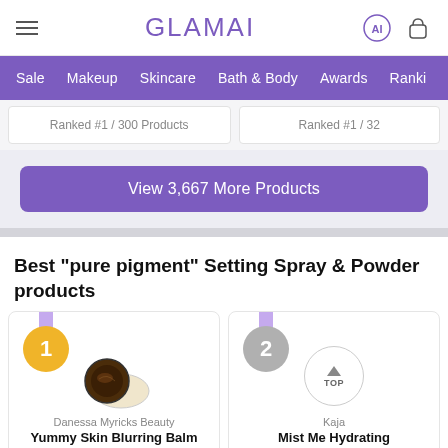GLAMAI
Sale  Makeup  Skincare  Bath & Body  Awards  Ranki
Ranked #1 / 300 Products
Ranked #1 / 32
View 3,667 More Products
Best "pure pigment" Setting Spray & Powder products
Danessa Myricks Beauty
Yummy Skin Blurring Balm Powder
Kaja
Mist Me Hydrating